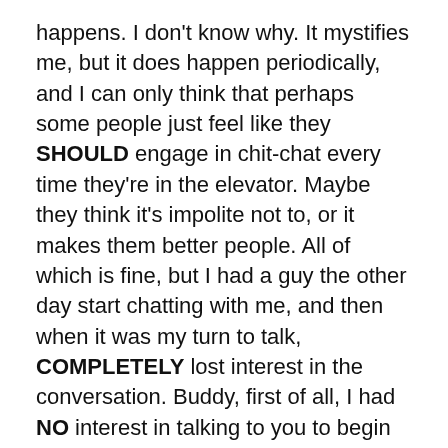happens. I don't know why. It mystifies me, but it does happen periodically, and I can only think that perhaps some people just feel like they SHOULD engage in chit-chat every time they're in the elevator. Maybe they think it's impolite not to, or it makes them better people. All of which is fine, but I had a guy the other day start chatting with me, and then when it was my turn to talk, COMPLETELY lost interest in the conversation. Buddy, first of all, I had NO interest in talking to you to begin with, and now here I am, scrambling to say something interesting about the weather, and you're fading on me???? I live on the 6th floor!!!!!!! It wasn't a long ride. Focus or fuck off!
To summarize, I think the world has all kinds of people in it. Different people have different elevator etiquette, and that's OK. I don't judge anyone, but all I ask is commit to it.